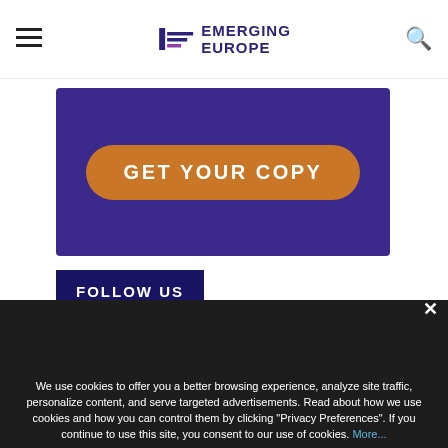EMERGING EUROPE
[Figure (screenshot): Purple banner with orange rounded button labeled GET YOUR COPY on dark purple background]
FOLLOW US
Connect with us through social media.
[Figure (illustration): Social media icons row: Facebook, Twitter, LinkedIn, Instagram, YouTube - shown as dark circles]
We use cookies to offer you a better browsing experience, analyze site traffic, personalize content, and serve targeted advertisements. Read about how we use cookies and how you can control them by clicking "Privacy Preferences". If you continue to use this site, you consent to our use of cookies. More...